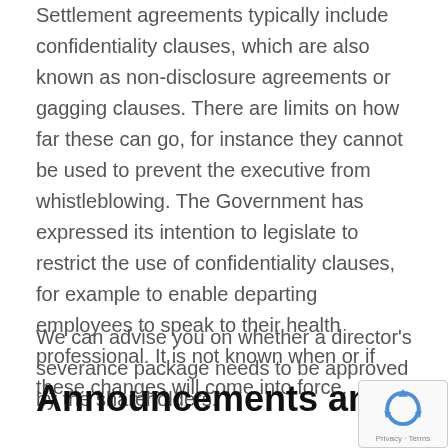Settlement agreements typically include confidentiality clauses, which are also known as non-disclosure agreements or gagging clauses. There are limits on how far these can go, for instance they cannot be used to prevent the executive from whistleblowing. The Government has expressed its intention to legislate to restrict the use of confidentiality clauses, for example to enable departing employees to speak to their health professional. It is not known when or if these changes will come into force.
We can advise you on whether a director's severance package needs to be approved by the shareholders.
Announcements and references